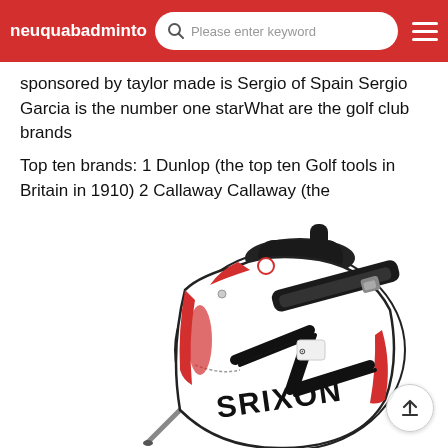neuquabadminton — Please enter keyword
sponsored by taylor made is Sergio of Spain Sergio Garcia is the number one starWhat are the golf club brands
Top ten brands: 1 Dunlop (the top ten Golf tools in Britain in 1910) 2 Callaway Callaway (the
[Figure (photo): A white, black and red Srixon golf stand bag on a white background, with 'SRIXON' and 'NOXTR' branding visible, and metal stand legs extended.]